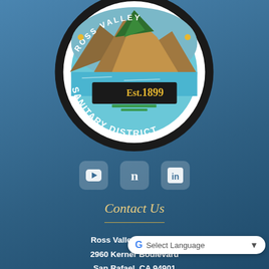[Figure (logo): Ross Valley Sanitary District circular logo with mountain/lake landscape, established 1899, black and white ring with SANITARY DISTRICT text]
[Figure (illustration): Three social media icons: YouTube (play button), Nextdoor (n), and LinkedIn (in), in rounded square boxes]
Contact Us
Ross Valley Sanitary D...
2960 Kerner Boulevard
San Rafael, CA 94901